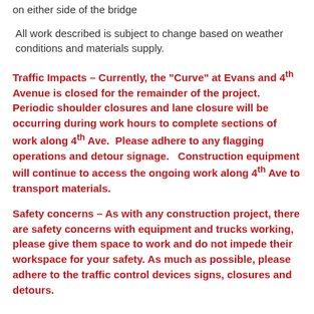on either side of the bridge
All work described is subject to change based on weather conditions and materials supply.
Traffic Impacts – Currently, the "Curve" at Evans and 4th Avenue is closed for the remainder of the project. Periodic shoulder closures and lane closure will be occurring during work hours to complete sections of work along 4th Ave. Please adhere to any flagging operations and detour signage. Construction equipment will continue to access the ongoing work along 4th Ave to transport materials.
Safety concerns – As with any construction project, there are safety concerns with equipment and trucks working, please give them space to work and do not impede their workspace for your safety. As much as possible, please adhere to the traffic control devices signs, closures and detours.